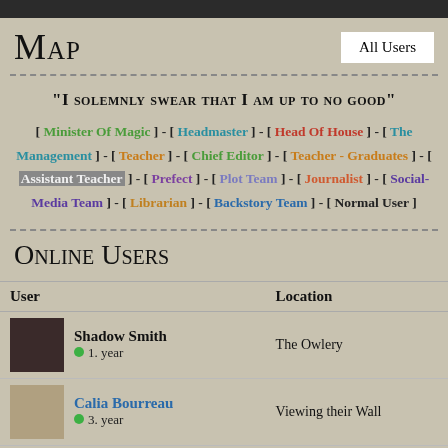Map
"I solemnly swear that I am up to no good"
[ Minister Of Magic ] - [ Headmaster ] - [ Head Of House ] - [ The Management ] - [ Teacher ] - [ Chief Editor ] - [ Teacher - Graduates ] - [ Assistant Teacher ] - [ Prefect ] - [ Plot Team ] - [ Journalist ] - [ Social-Media Team ] - [ Librarian ] - [ Backstory Team ] - [ Normal User ]
Online Users
| User | Location |
| --- | --- |
| Shadow Smith
1. year | The Owlery |
| Calia Bourreau
3. year | Viewing their Wall |